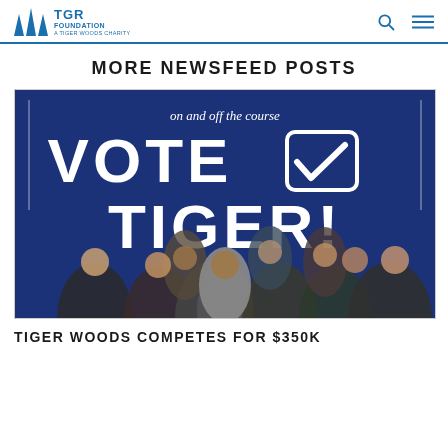TGR Foundation — A Tiger Woods Charity
MORE NEWSFEED POSTS
[Figure (photo): Promotional image with dark blue background. Text reads 'on and off the course' at top, then large bold white text 'VOTE TIGER!' with a checkmark icon. Group of diverse young people and Tiger Woods posing together in foreground.]
TIGER WOODS COMPETES FOR $350K